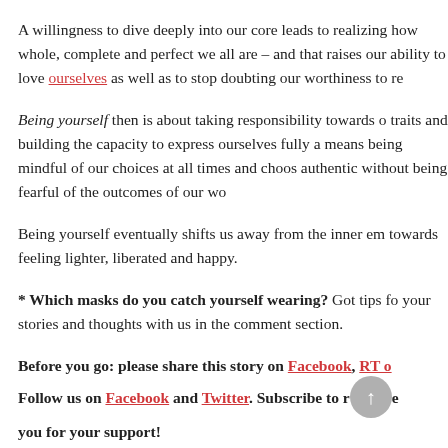A willingness to dive deeply into our core leads to realizing how whole, complete and perfect we all are – and that raises our ability to love ourselves as well as to stop doubting our worthiness to receive love.
Being yourself then is about taking responsibility towards owning our traits and building the capacity to express ourselves fully and freely. It means being mindful of our choices at all times and choosing to be authentic without being fearful of the outcomes of our words and actions.
Being yourself eventually shifts us away from the inner emptiness towards feeling lighter, liberated and happy.
* Which masks do you catch yourself wearing? Got tips for us? Share your stories and thoughts with us in the comment section.
Before you go: please share this story on Facebook, RT on Twitter. Follow us on Facebook and Twitter. Subscribe to receive more from us. Thank you for your support!